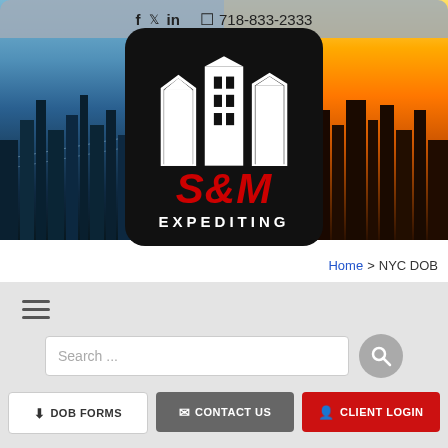f  ·  twitter  ·  in    718-833-2333
[Figure (photo): NYC skyline split: blue waterfront on left, golden/orange cityscape on right]
[Figure (logo): S&M Expediting logo — black rounded square, white building silhouettes, red S&M text, white EXPEDITING text]
Home > NYC DOB
[Figure (other): Hamburger navigation menu icon (three horizontal lines)]
[Figure (other): Search bar with placeholder text 'Search ...' and a circular search button]
⬇ DOB FORMS    ✉ CONTACT US    👤 CLIENT LOGIN